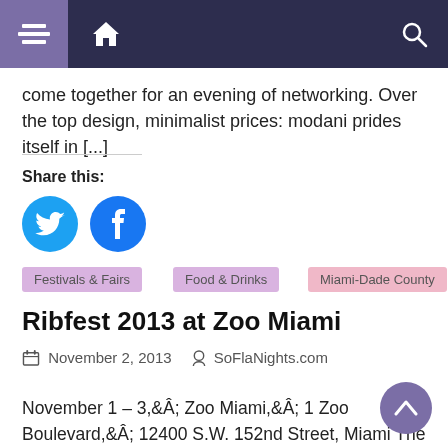Navigation bar with home, menu, and search icons
come together for an evening of networking. Over the top design, minimalist prices: modani prides itself in [...]
Share this:
[Figure (other): Twitter and Facebook share buttons as blue circles with white icons]
Festivals & Fairs
Food & Drinks
Miami-Dade County
Ribfest 2013 at Zoo Miami
November 2, 2013   SoFlaNights.com
November 1 – 3,Â Zoo Miami,Â 1 Zoo Boulevard,Â 12400 S.W. 152nd Street, Miami The racks are back as Ribfest returns to Zoo Miami for a weekend jam-packed with finger-licking barbecue and entertainment for the entire family. Seven of the finest ribbers in the nation will compete to be named “best of” in five categories: Ribs, Pork, Beer [...]